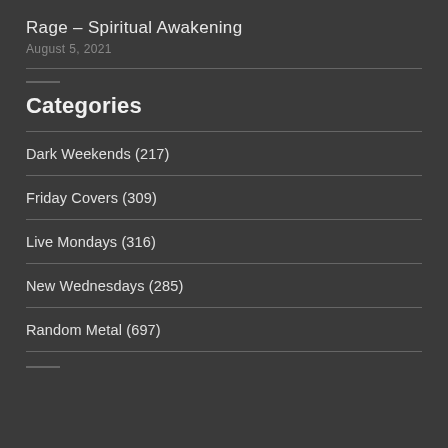Rage – Spiritual Awakening
August 5, 2021
Categories
Dark Weekends (217)
Friday Covers (309)
Live Mondays (316)
New Wednesdays (285)
Random Metal (697)